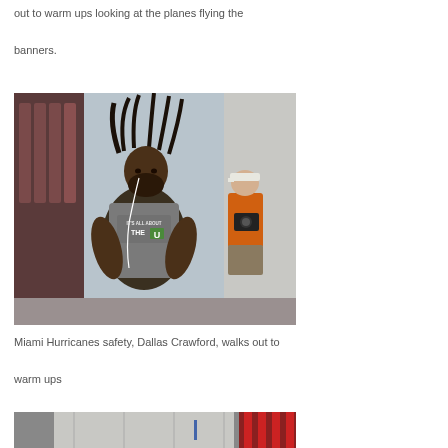out to warm ups looking at the planes flying the banners.
[Figure (photo): Miami Hurricanes safety Dallas Crawford walking out to warm ups, wearing a gray 'It's All About The U' t-shirt with earbuds in. A photographer in an orange shirt is visible in the background.]
Miami Hurricanes safety, Dallas Crawford, walks out to warm ups
[Figure (photo): Partial view of a second photo showing stadium/field area with red and white elements visible.]